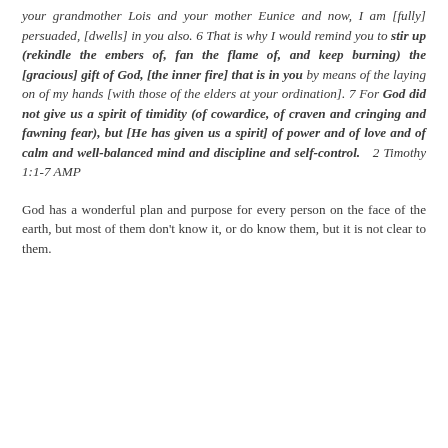your grandmother Lois and your mother Eunice and now, I am [fully] persuaded, [dwells] in you also. 6 That is why I would remind you to stir up (rekindle the embers of, fan the flame of, and keep burning) the [gracious] gift of God, [the inner fire] that is in you by means of the laying on of my hands [with those of the elders at your ordination]. 7 For God did not give us a spirit of timidity (of cowardice, of craven and cringing and fawning fear), but [He has given us a spirit] of power and of love and of calm and well-balanced mind and discipline and self-control.  2 Timothy 1:1-7 AMP
God has a wonderful plan and purpose for every person on the face of the earth, but most of them don't know it, or do know them, but it is not clear to them.